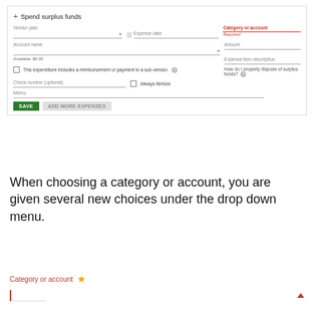[Figure (screenshot): A form titled 'Spend surplus funds' with fields: Vendor paid, Expense date, Category or account (required, red), Account name, Amount, Expense item description, How do I properly dispose of surplus funds?, checkbox for reimbursement/sub-vendor, Check number (optional), Always itemize checkbox, Memo, and buttons SAVE and ADD MORE EXPENSES.]
When choosing a category or account, you are given several new choices under the drop down menu.
[Figure (screenshot): Partial screenshot showing 'Category or account' label in red with a gold star icon, and a red left-border input line with a red arrow pointing up on the right side.]